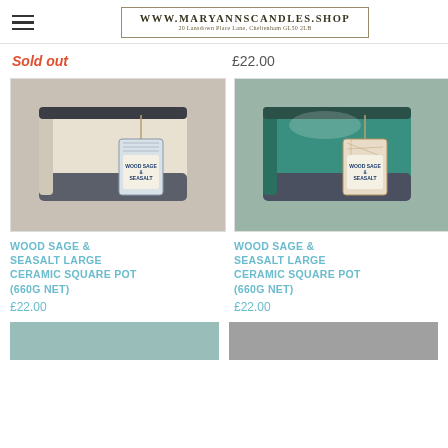www.MaryAnnsCandles.Shop — 20 Lansdown Place Lane, Cheltenham GL50 2LB
Sold out
£22.00
[Figure (photo): Wood Sage & Seasalt large ceramic square pot (660g net) — beige/grey colourway with branded tag]
WOOD SAGE & SEASALT LARGE CERAMIC SQUARE POT (660g net)
£22.00
[Figure (photo): Wood Sage & Seasalt large ceramic square pot (660g net) — teal/green colourway with branded tag]
WOOD SAGE & SEASALT LARGE CERAMIC SQUARE POT (660g net)
£22.00